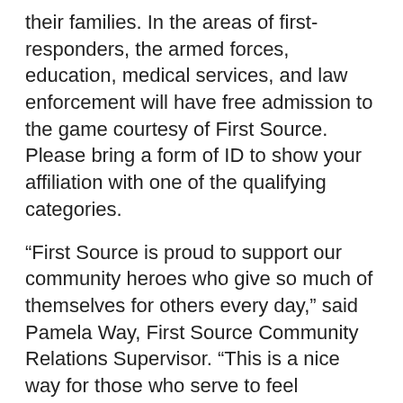their families. In the areas of first-responders, the armed forces, education, medical services, and law enforcement will have free admission to the game courtesy of First Source. Please bring a form of ID to show your affiliation with one of the qualifying categories.
“First Source is proud to support our community heroes who give so much of themselves for others every day,” said Pamela Way, First Source Community Relations Supervisor. “This is a nice way for those who serve to feel recognized and enjoy a fun night out with their family.”
As part of the festivities, the Utica Fire Department will have trucks on site for kids to meet the Firefighters and view the trucks, Senior Chief Michael J. Grogan U. S. Navy (Retired) will throw out the first pitch, and Amanda Aiello, a local RN will sing the National Anthem. You can look for fun contests/games during inning breaks.
For questions please contact Pamela Way, First Source